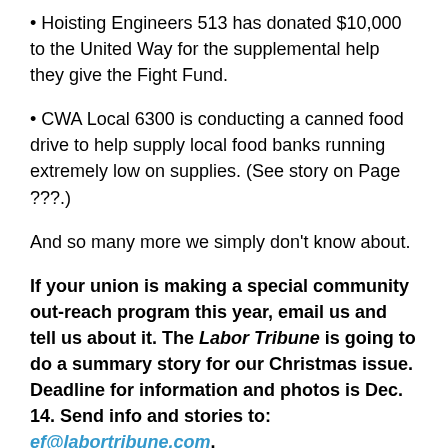• Hoisting Engineers 513 has donated $10,000 to the United Way for the supplemental help they give the Fight Fund.
• CWA Local 6300 is conducting a canned food drive to help supply local food banks running extremely low on supplies. (See story on Page ???.)
And so many more we simply don't know about.
If your union is making a special community out-reach program this year, email us and tell us about it. The Labor Tribune is going to do a summary story for our Christmas issue. Deadline for information and photos is Dec. 14. Send info and stories to: ef@labortribune.com.
WANT TO DONATE?
• (partial text visible at bottom)